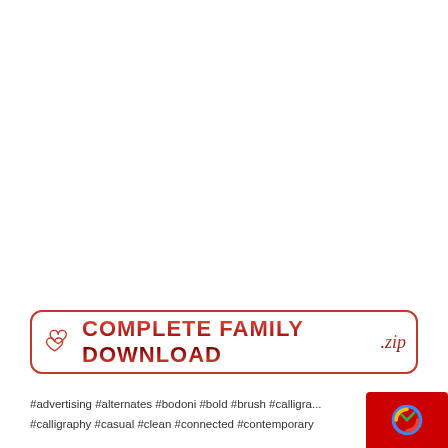[Figure (other): Download banner with hearts icon and red gradient text reading COMPLETE FAMILY DOWNLOAD with .zip label, enclosed in a rounded red border]
#advertising #alternates #bodoni #bold #brush #calligra... #calligraphy #casual #clean #connected #contemporary